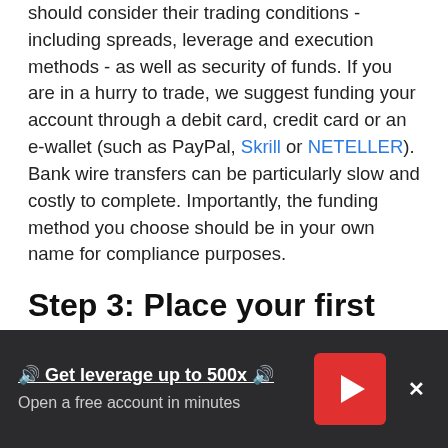should consider their trading conditions - including spreads, leverage and execution methods - as well as security of funds. If you are in a hurry to trade, we suggest funding your account through a debit card, credit card or an e-wallet (such as PayPal, Skrill or NETELLER). Bank wire transfers can be particularly slow and costly to complete. Importantly, the funding method you choose should be in your own name for compliance purposes.
Step 3: Place your first trade
Placing your first trade may seem daunting, but it need not be. All brokers in our panel allow you to trade directly from their website or a smartphone
🔊 Get leverage up to 500x 🔊
Open a free account in minutes